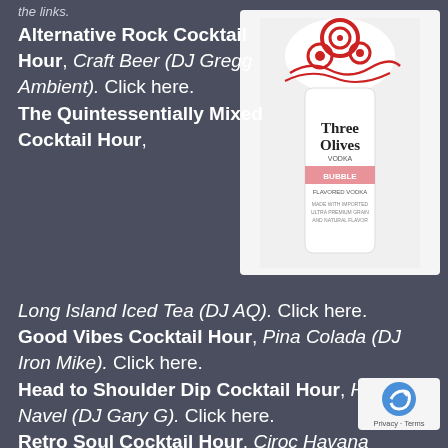the links.
[Figure (photo): Three Olives Vodka Bubble flavored bottle with red swirl design on white/light background]
Alternative Rock Cocktail Hour, Craft Beer (DJ Gregg Ambient). Click here. The Quintessentially Mixed Cocktail Hour, Long Island Iced Tea (DJ AQ). Click here. Good Vibes Cocktail Hour, Pina Colada (DJ Iron Mike). Click here. Head to Shoulder Dip Cocktail Hour, Hairy Navel (DJ Gary G). Click here. Retro Soul Cocktail Hour, Ciroc Havana
[Figure (logo): reCAPTCHA badge with Privacy - Terms text]